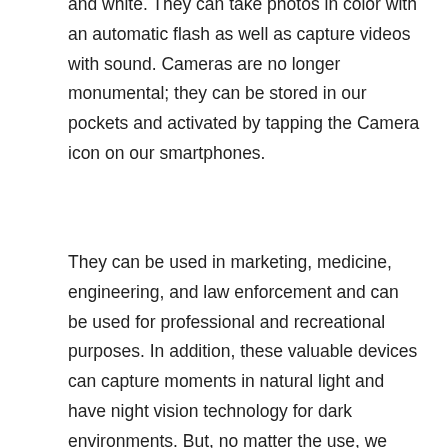and white. They can take photos in color with an automatic flash as well as capture videos with sound. Cameras are no longer monumental; they can be stored in our pockets and activated by tapping the Camera icon on our smartphones.
They can be used in marketing, medicine, engineering, and law enforcement and can be used for professional and recreational purposes. In addition, these valuable devices can capture moments in natural light and have night vision technology for dark environments. But, no matter the use, we can all agree that cameras are one of the most revolutionary inventions of our times.